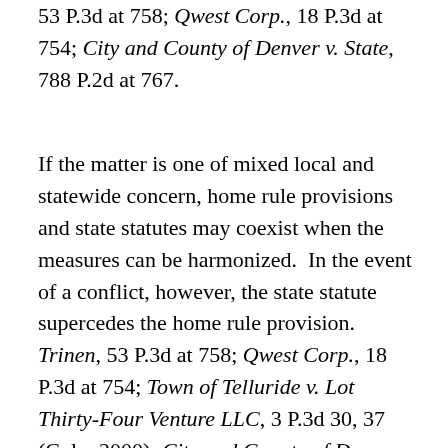53 P.3d at 758; Qwest Corp., 18 P.3d at 754; City and County of Denver v. State, 788 P.2d at 767.
If the matter is one of mixed local and statewide concern, home rule provisions and state statutes may coexist when the measures can be harmonized.  In the event of a conflict, however, the state statute supercedes the home rule provision.  Trinen, 53 P.3d at 758; Qwest Corp., 18 P.3d at 754; Town of Telluride v. Lot Thirty-Four Venture LLC, 3 P.3d 30, 37 (Colo. 2000); City and County of Denver v. State, 788 P.2d at 767.